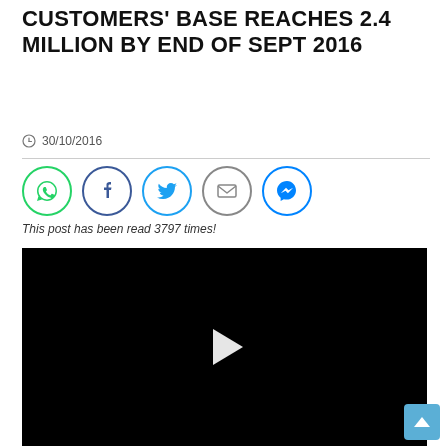CUSTOMERS' BASE REACHES 2.4 MILLION BY END OF SEPT 2016
30/10/2016
[Figure (infographic): Social sharing buttons row: WhatsApp (green circle), Facebook (dark blue circle), Twitter (light blue circle), Email (grey circle), Messenger (blue circle)]
This post has been read 3797 times!
[Figure (screenshot): Black video player with white play button triangle in the center]